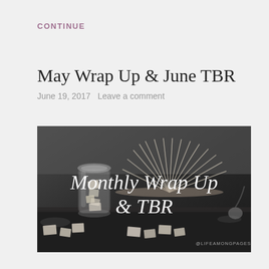CONTINUE
May Wrap Up & June TBR
June 19, 2017   Leave a comment
[Figure (photo): Black and white photo of an open book with pages fanned out, a glass jar filled with small folded paper notes, and small white paper cubes scattered around, with text overlay reading 'Monthly Wrap Up & TBR' and '@LIFEAMONGPAGES']